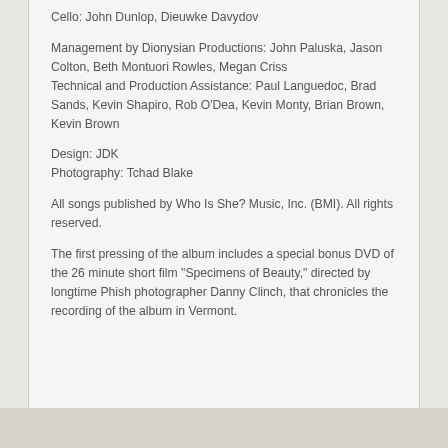Cello: John Dunlop, Dieuwke Davydov
Management by Dionysian Productions: John Paluska, Jason Colton, Beth Montuori Rowles, Megan Criss
Technical and Production Assistance: Paul Languedoc, Brad Sands, Kevin Shapiro, Rob O’Dea, Kevin Monty, Brian Brown, Kevin Brown
Design: JDK
Photography: Tchad Blake
All songs published by Who Is She? Music, Inc. (BMI). All rights reserved.
The first pressing of the album includes a special bonus DVD of the 26 minute short film "Specimens of Beauty," directed by longtime Phish photographer Danny Clinch, that chronicles the recording of the album in Vermont.